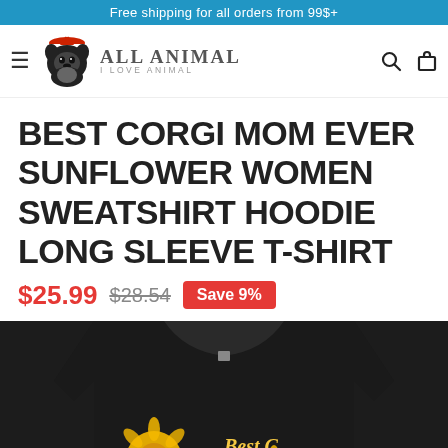Free shipping for all orders from 99$+
[Figure (logo): All Animal – I Love Animal logo with a corgi wearing a Santa hat]
BEST CORGI MOM EVER SUNFLOWER WOMEN SWEATSHIRT HOODIE LONG SLEEVE T-SHIRT
$25.99  $28.54  Save 9%
[Figure (photo): Black sweatshirt/t-shirt with 'Best Corgi Mom Ever' sunflower design printed on the front, partially visible]